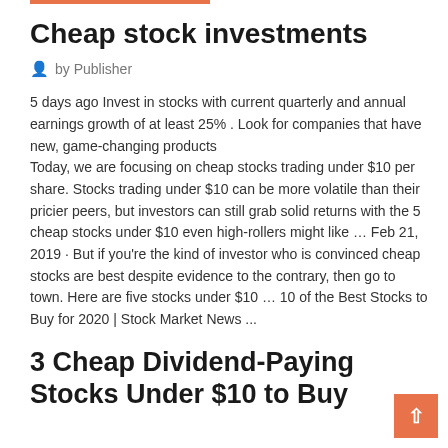Cheap stock investments
by Publisher
5 days ago Invest in stocks with current quarterly and annual earnings growth of at least 25% . Look for companies that have new, game-changing products
Today, we are focusing on cheap stocks trading under $10 per share. Stocks trading under $10 can be more volatile than their pricier peers, but investors can still grab solid returns with the 5 cheap stocks under $10 even high-rollers might like … Feb 21, 2019 · But if you're the kind of investor who is convinced cheap stocks are best despite evidence to the contrary, then go to town. Here are five stocks under $10 … 10 of the Best Stocks to Buy for 2020 | Stock Market News ...
3 Cheap Dividend-Paying Stocks Under $10 to Buy